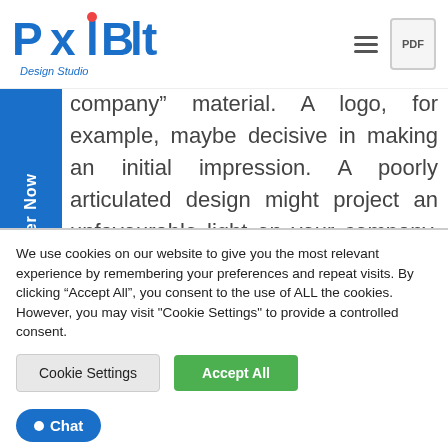PixlBit Design Studio
company material. A logo, for example, maybe decisive in making an initial impression. A poorly articulated design might project an unfavourable light on your company, and it will be tough to overcome that negative impression.

Graphic design is helpful for more than just your logo and website. Graphic design may help you communicate your thoughts by creating visual
We use cookies on our website to give you the most relevant experience by remembering your preferences and repeat visits. By clicking “Accept All”, you consent to the use of ALL the cookies. However, you may visit "Cookie Settings" to provide a controlled consent.